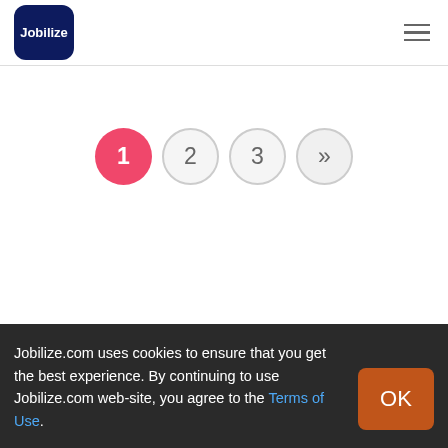[Figure (logo): Jobilize logo: dark navy rounded square with white text 'Jobilize']
Jobilize.com uses cookies to ensure that you get the best experience. By continuing to use Jobilize.com web-site, you agree to the Terms of Use.